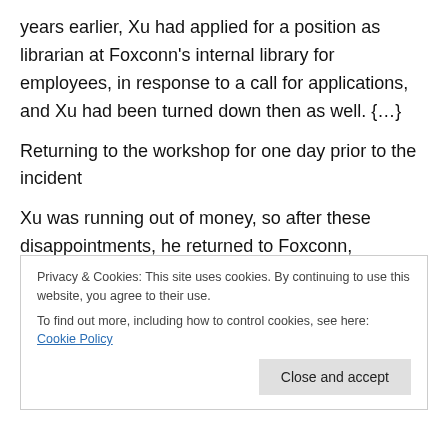years earlier, Xu had applied for a position as librarian at Foxconn's internal library for employees, in response to a call for applications, and Xu had been turned down then as well. {...}
Returning to the workshop for one day prior to the incident
Xu was running out of money, so after these disappointments, he returned to Foxconn, beginning work on September 29, in the same workshop where he had worked before. This should have been a new beginning, but it was not. That evening he mentioned to Zheng via
Privacy & Cookies: This site uses cookies. By continuing to use this website, you agree to their use.
To find out more, including how to control cookies, see here: Cookie Policy